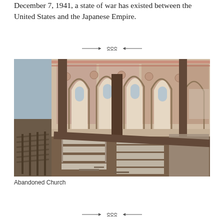December 7, 1941, a state of war has existed between the United States and the Japanese Empire.
[Figure (photo): Interior photograph of an abandoned Gothic-style church showing rows of wooden pews in a state of decay, with ornate pointed arches, faded colorful murals on the walls, exposed beams, and debris on the floor. Natural light streams through Gothic windows in the background.]
Abandoned Church